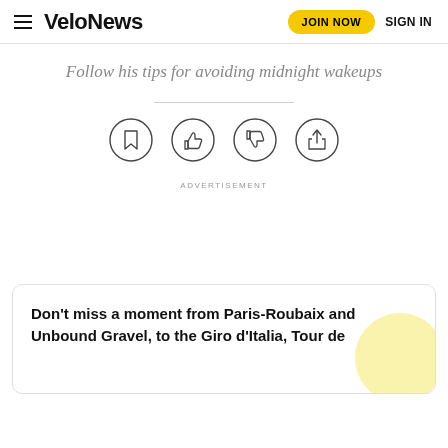VeloNews — JOIN NOW  SIGN IN
Follow his tips for avoiding midnight wakeups
[Figure (infographic): Four circular icon buttons: bookmark, thumbs up, thumbs down, share]
ADVERTISEMENT
Don't miss a moment from Paris-Roubaix and Unbound Gravel, to the Giro d'Italia, Tour de